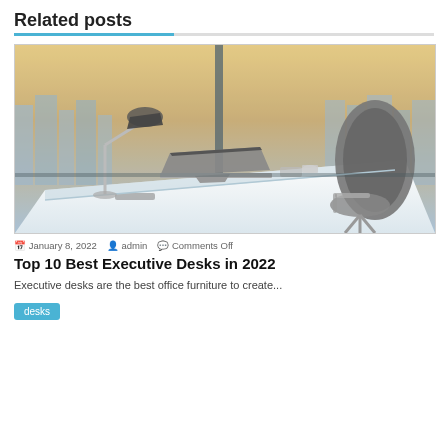Related posts
[Figure (photo): Office executive desk with laptop, lamp, and ergonomic chair against a city skyline window backdrop]
January 8, 2022  admin  Comments Off
Top 10 Best Executive Desks in 2022
Executive desks are the best office furniture to create...
desks